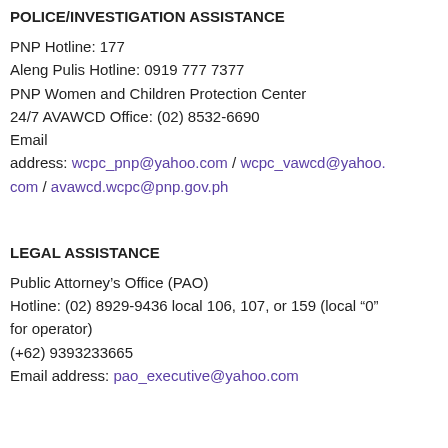POLICE/INVESTIGATION ASSISTANCE
PNP Hotline: 177
Aleng Pulis Hotline: 0919 777 7377
PNP Women and Children Protection Center
24/7 AVAWCD Office: (02) 8532-6690
Email address: wcpc_pnp@yahoo.com / wcpc_vawcd@yahoo.com / avawcd.wcpc@pnp.gov.ph
LEGAL ASSISTANCE
Public Attorney's Office (PAO)
Hotline: (02) 8929-9436 local 106, 107, or 159 (local “0” for operator)
(+62) 9393233665
Email address: pao_executive@yahoo.com